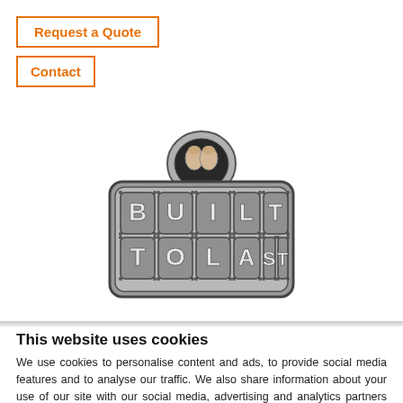Request a Quote
Contact
[Figure (logo): Metal badge logo with 'BUILT TO LAST' text in individual metallic tile squares, with a bread/toast icon above in an arch]
This website uses cookies
We use cookies to personalise content and ads, to provide social media features and to analyse our traffic. We also share information about your use of our site with our social media, advertising and analytics partners who may combine it with other information that you've provided to them or that they've collected from your use of their services. You consent to our cookies if you